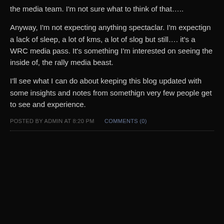the media team. I'm not sure what to think of that…..
Anyway, I'm not expecting anything spectaclar. I'm expectign a lack of sleep, a lot of kms, a lot of slog but still…. it's a WRC media pass. It's something I'm interested on seeing the inside of, the rally media beast.
I'll see what I can do about keeping this blog updated with some insights and notes from somethign very few people get to see and experience.
POSTED BY ADMIN AT 8:20 PM    COMMENTS (0)